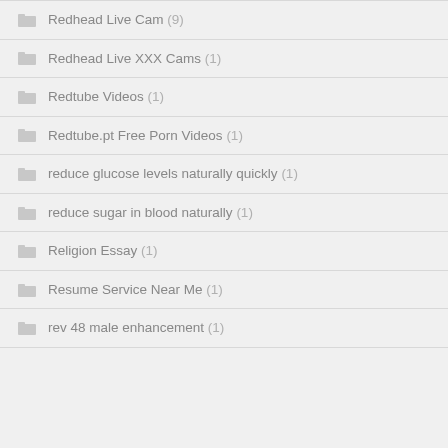Redhead Live Cam (9)
Redhead Live XXX Cams (1)
Redtube Videos (1)
Redtube.pt Free Porn Videos (1)
reduce glucose levels naturally quickly (1)
reduce sugar in blood naturally (1)
Religion Essay (1)
Resume Service Near Me (1)
rev 48 male enhancement (1)